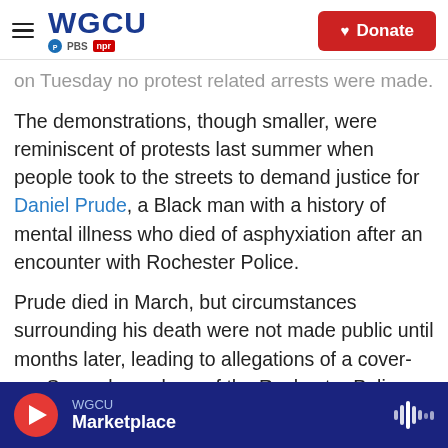WGCU PBS NPR — Donate
on Tuesday no protest related arrests were made.
The demonstrations, though smaller, were reminiscent of protests last summer when people took to the streets to demand justice for Daniel Prude, a Black man with a history of mental illness who died of asphyxiation after an encounter with Rochester Police.
Prude died in March, but circumstances surrounding his death were not made public until months later, leading to allegations of a cover-up. Several members of the Rochester Police Department were either terminated or resigned in
WGCU Marketplace